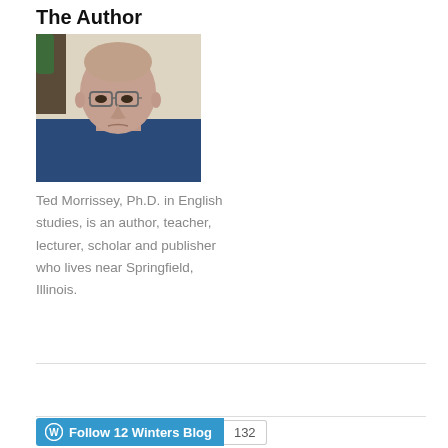The Author
[Figure (photo): Headshot photo of Ted Morrissey, a bald man wearing glasses and a dark blue shirt, photographed in an indoor setting]
Ted Morrissey, Ph.D. in English studies, is an author, teacher, lecturer, scholar and publisher who lives near Springfield, Illinois.
Follow @t_morrissey
[Figure (other): WordPress Follow 12 Winters Blog button with follower count of 132]